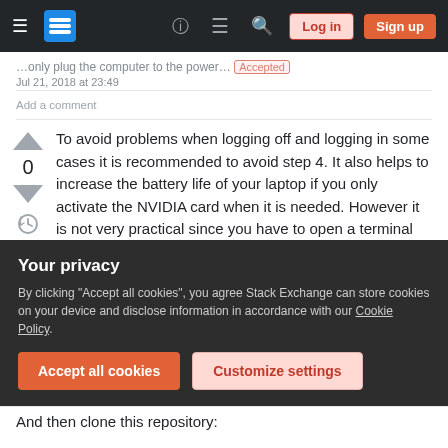Stack Exchange navigation bar with Log in and Sign up buttons
Jul 21, 2018 at 23:49
Add a comment
To avoid problems when logging off and logging in some cases it is recommended to avoid step 4. It also helps to increase the battery life of your laptop if you only activate the NVIDIA card when it is needed. However it is not very practical since you have to open a terminal and write sudo prime-select nvidia each time. To overcome this
Your privacy
By clicking "Accept all cookies", you agree Stack Exchange can store cookies on your device and disclose information in accordance with our Cookie Policy.
Accept all cookies   Customize settings
And then clone this repository: